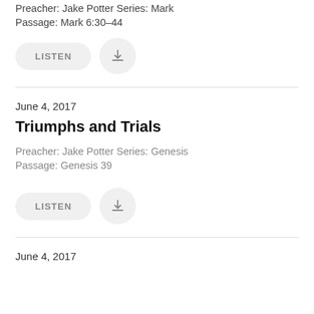Preacher: Jake Potter Series: Mark
Passage: Mark 6:30–44
[Figure (other): LISTEN button (pill-shaped) and download icon button (circle with down arrow)]
June 4, 2017
Triumphs and Trials
Preacher: Jake Potter Series: Genesis
Passage: Genesis 39
[Figure (other): LISTEN button (pill-shaped) and download icon button (circle with down arrow)]
June 4, 2017